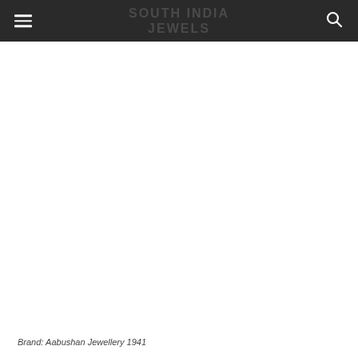SOUTH INDIA JEWELS
Brand: Aabushan Jewellery 1941